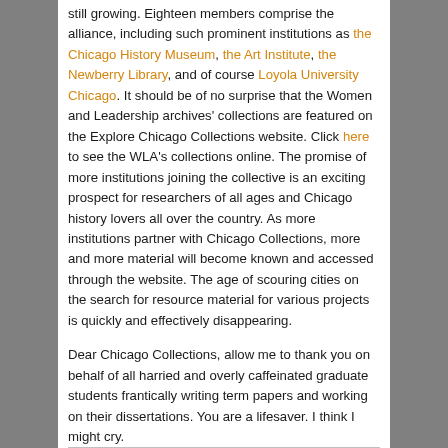still growing. Eighteen members comprise the alliance, including such prominent institutions as the Chicago History Museum, the Art Institute, the Newberry Library, and of course Loyola University Chicago. It should be of no surprise that the Women and Leadership archives' collections are featured on the Explore Chicago Collections website. Click here to see the WLA's collections online. The promise of more institutions joining the collective is an exciting prospect for researchers of all ages and Chicago history lovers all over the country. As more institutions partner with Chicago Collections, more and more material will become known and accessed through the website. The age of scouring cities on the search for resource material for various projects is quickly and effectively disappearing.
Dear Chicago Collections, allow me to thank you on behalf of all harried and overly caffeinated graduate students frantically writing term papers and working on their dissertations. You are a lifesaver. I think I might cry.